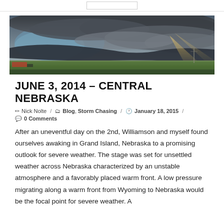[Figure (photo): Wide panoramic photo of a dramatic storm sky over flat Nebraska prairie with dark storm clouds and green fields below]
JUNE 3, 2014 – CENTRAL NEBRASKA
✏ Nick Nolte / 🗂 Blog, Storm Chasing / 🕐 January 18, 2015 / 💬 0 Comments
After an uneventful day on the 2nd, Williamson and myself found ourselves awaking in Grand Island, Nebraska to a promising outlook for severe weather. The stage was set for unsettled weather across Nebraska characterized by an unstable atmosphere and a favorably placed warm front. A low pressure migrating along a warm front from Wyoming to Nebraska would be the focal point for severe weather. A